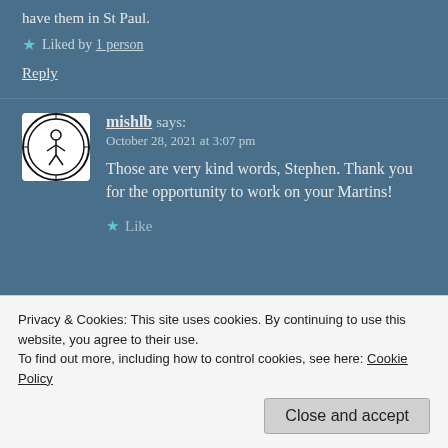have them in St Paul.
Liked by 1 person
Reply
[Figure (illustration): Avatar/logo image: circular black and white emblem with a figure inside.]
mishlb says:
October 28, 2021 at 3:07 pm
Those are very kind words, Stephen. Thank you for the opportunity to work on your Martins!
Like
Privacy & Cookies: This site uses cookies. By continuing to use this website, you agree to their use.
To find out more, including how to control cookies, see here: Cookie Policy
Close and accept